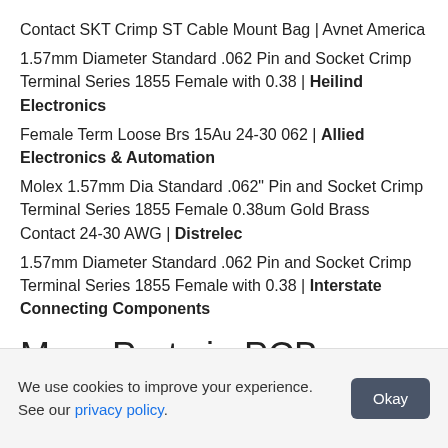Contact SKT Crimp ST Cable Mount Bag | Avnet America
1.57mm Diameter Standard .062 Pin and Socket Crimp Terminal Series 1855 Female with 0.38 | Heilind Electronics
Female Term Loose Brs 15Au 24-30 062 | Allied Electronics & Automation
Molex 1.57mm Dia Standard .062" Pin and Socket Crimp Terminal Series 1855 Female 0.38um Gold Brass Contact 24-30 AWG | Distrelec
1.57mm Diameter Standard .062 Pin and Socket Crimp Terminal Series 1855 Female with 0.38 | Interstate Connecting Components
More Parts in PCB Connectors
We use cookies to improve your experience. See our privacy policy.